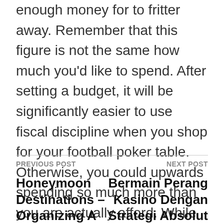enough money for to fritter away. Remember that this figure is not the same how much you'd like to spend. After setting a budget, it will be significantly easier to use fiscal discipline when you shop for your football poker table. Otherwise, you could upwards spending so much more than you are actually afford. While not every football table is alike, these above tips will can help to find one that you that way fits however of any room and your financial.
PREVIOUS POST | Honeymoon Destinations – Organizing A Trip Keep || NEXT POST | Bermain Perang Kasino Dengan Strategi Absolut